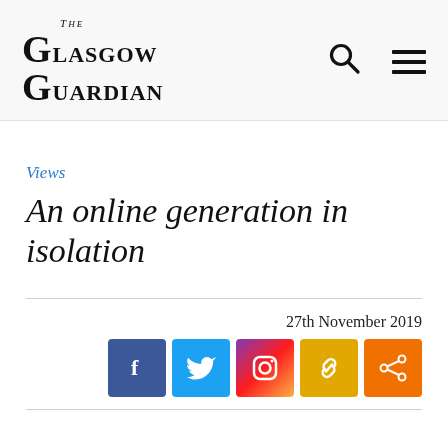The Glasgow Guardian
Views
An online generation in isolation
27th November 2019
[Figure (other): Social media share buttons: Facebook, Twitter, Instagram, Link, Share]